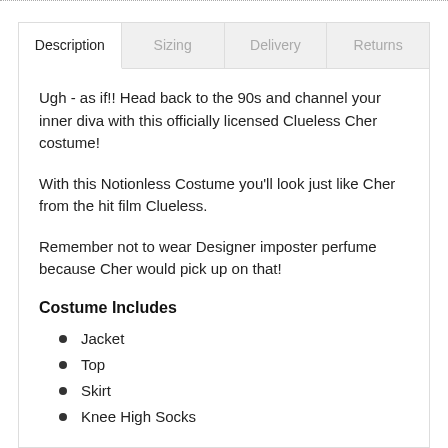Description | Sizing | Delivery | Returns
Ugh - as if!! Head back to the 90s and channel your inner diva with this officially licensed Clueless Cher costume!
With this Notionless Costume you'll look just like Cher from the hit film Clueless.
Remember not to wear Designer imposter perfume because Cher would pick up on that!
Costume Includes
Jacket
Top
Skirt
Knee High Socks